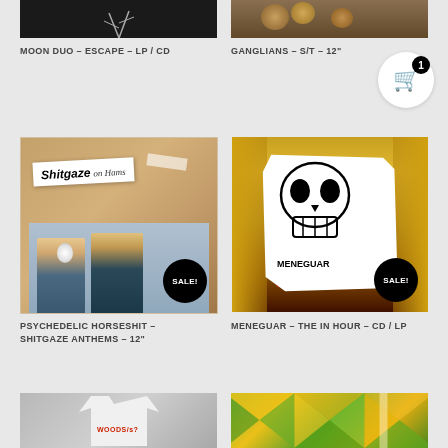[Figure (photo): Partial top of Moon Duo album cover, dark image with plant]
[Figure (photo): Partial top of Ganglians album cover, animal faces]
MOON DUO – ESCAPE – LP / CD
GANGLIANS – S/T – 12"
[Figure (photo): Psychedelic Horseshit Shitgaze Anthems album cover with SALE badge]
[Figure (photo): Meneguar The In Hour album cover with skull artwork and SALE badge]
PSYCHEDELIC HORSESHIT – SHITGAZE ANTHEMS – 12"
MENEGUAR – THE IN HOUR – CD / LP
[Figure (photo): Woods t-shirt product photo, white tee with red text]
[Figure (photo): Colorful geometric pattern album art]